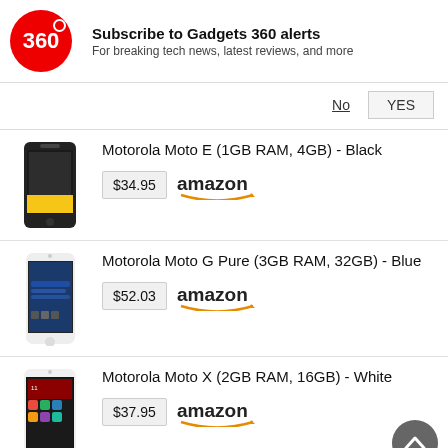Subscribe to Gadgets 360 alerts
For breaking tech news, latest reviews, and more
Motorola Moto E (1GB RAM, 4GB) - Black
$34.95 amazon
Motorola Moto G Pure (3GB RAM, 32GB) - Blue
$52.03 amazon
Motorola Moto X (2GB RAM, 16GB) - White
$37.95 amazon
Motorola Moto G Pure (3GB RAM, 32GB) -